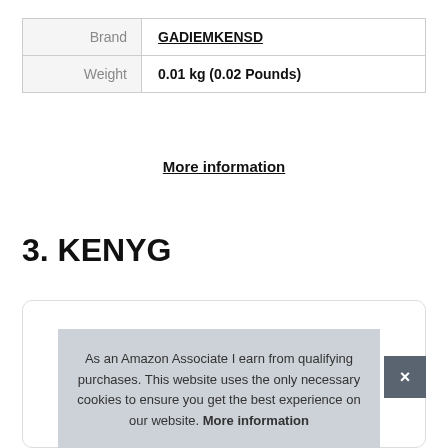|  |  |
| --- | --- |
| Brand | GADIEMKENSD |
| Weight | 0.01 kg (0.02 Pounds) |
More information
3. KENYG
As an Amazon Associate I earn from qualifying purchases. This website uses the only necessary cookies to ensure you get the best experience on our website. More information
[Figure (photo): Product image partially visible at bottom of page showing what appears to be small items/tools]